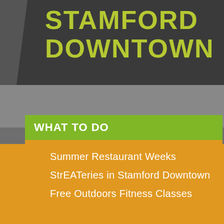STAMFORD DOWNTOWN
WHAT TO DO
SIGNATURE EVENTS
GETTING AROUND
DOWNTOWN LIVING
BUSINESS RESOURCES
ABOUT US
Summer Restaurant Weeks
StrEATeries in Stamford Downtown
Free Outdoors Fitness Classes